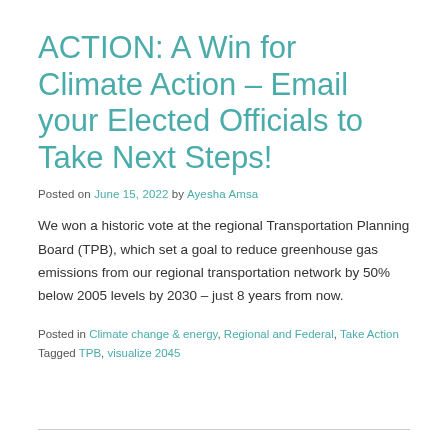ACTION: A Win for Climate Action – Email your Elected Officials to Take Next Steps!
Posted on June 15, 2022 by Ayesha Amsa
We won a historic vote at the regional Transportation Planning Board (TPB), which set a goal to reduce greenhouse gas emissions from our regional transportation network by 50% below 2005 levels by 2030 – just 8 years from now.
Posted in Climate change & energy, Regional and Federal, Take Action Tagged TPB, visualize 2045